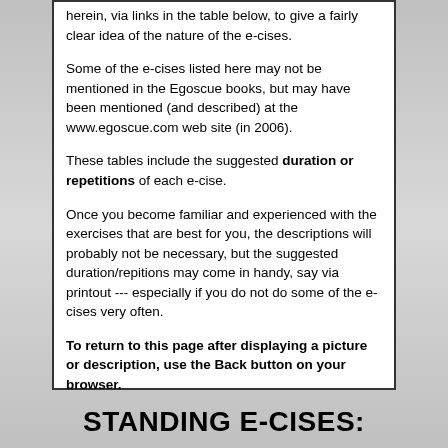herein, via links in the table below, to give a fairly clear idea of the nature of the e-cises.
Some of the e-cises listed here may not be mentioned in the Egoscue books, but may have been mentioned (and described) at the www.egoscue.com web site (in 2006).
These tables include the suggested duration or repetitions of each e-cise.
Once you become familiar and experienced with the exercises that are best for you, the descriptions will probably not be necessary, but the suggested duration/repitions may come in handy, say via printout --- especially if you do not do some of the e-cises very often.
To return to this page after displaying a picture or description, use the Back button on your browser.
STANDING E-CISES: